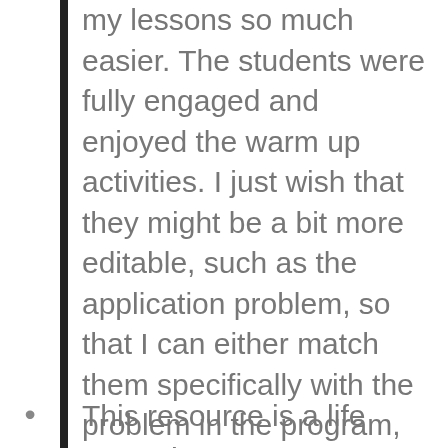my lessons so much easier. The students were fully engaged and enjoyed the warm up activities. I just wish that they might be a bit more editable, such as the application problem, so that I can either match them specifically with the problem in the program, or I could change people's names to match those of my students. Otherwise, amazing resource! Look forward to continuing to use them next school year!
This resource is a life saver. I